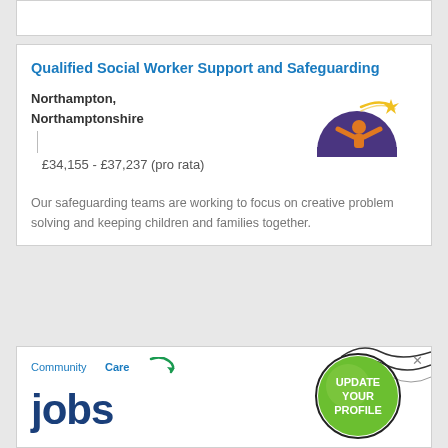Qualified Social Worker Support and Safeguarding
Northampton, Northamptonshire   £34,155 - £37,237 (pro rata)
[Figure (logo): Northamptonshire Children's Trust logo — circular blue/purple arch with orange child figure arms raised, shooting star above, text below]
Our safeguarding teams are working to focus on creative problem solving and keeping children and families together.
[Figure (logo): CommunityCare jobs logo with 'UPDATE YOUR PROFILE' green circle badge and decorative wave lines]